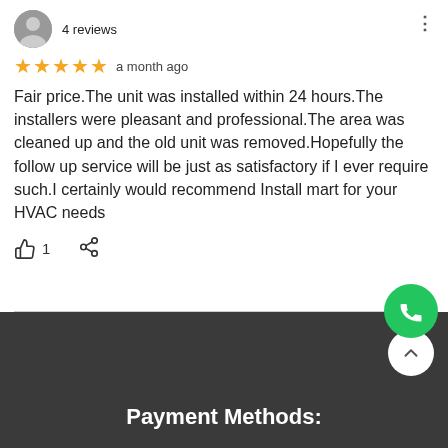4 reviews
★★★★★ a month ago
Fair price.The unit was installed within 24 hours.The installers were pleasant and professional.The area was cleaned up and the old unit was removed.Hopefully the follow up service will be just as satisfactory if I ever require such.I certainly would recommend Install mart for your HVAC needs
👍 1
Payment Methods: